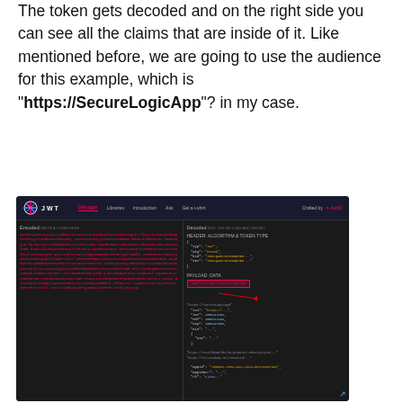The token gets decoded and on the right side you can see all the claims that are inside of it. Like mentioned before, we are going to use the audience for this example, which is "https://SecureLogicApp"? in my case.
[Figure (screenshot): Screenshot of jwt.io debugger showing an encoded JWT token on the left panel (in pink/magenta text) and the decoded header and payload on the right panel. The payload section shows an 'aud' field highlighted in a pink box with a red arrow pointing to it, indicating the audience claim 'https://SecureLogicApp'.]